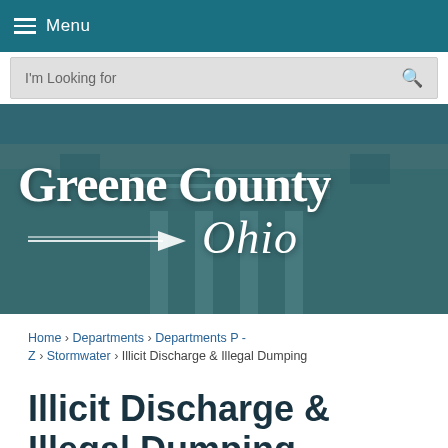Menu
I'm Looking for
[Figure (screenshot): Greene County Ohio government website hero image showing a historic building with white columns overlaid with teal tint, featuring the Greene County Ohio logo in white text with serif font and arrow graphic]
Home › Departments › Departments P - Z › Stormwater › Illicit Discharge & Illegal Dumping
Illicit Discharge & Illegal Dumping